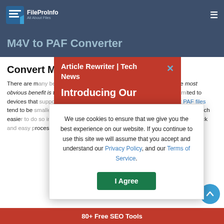FileProInfo — All About Files
M4V to PAF Converter
Convert M4V to PAF online & free
There are many benefits to converting a M4V file to PAF. Perhaps the most obvious benefit is that a PAF can be read on any device, and is not limited to devices that support M4V. Converting a M4V to PAF also means that PAF files tend to be smaller in size. Additionally, if you want to share a file, it can be much easier to do so in PAF than M4V format. Finally, this converter provides a quick and easy process to convert PAF for free using this free online tool.
[Figure (screenshot): Red popup overlay showing 'Article Rewriter | Tech News' with 'Introducing Our' subtitle and a close X button]
We use cookies to ensure that we give you the best experience on our website. If you continue to use this site we will assume that you accept and understand our Privacy Policy, and our Terms of Service.
I Agree
80+ Free SEO Tools